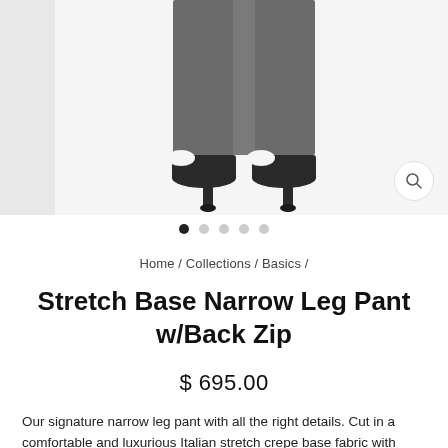[Figure (photo): Product photo showing lower half of model wearing dark charcoal narrow leg pants and black open-toe mule heels against a light gray background. Left side has a narrower gray panel. A magnifying glass icon appears in the bottom right of the image.]
● ○ ○ ○ ○ (image carousel dots, first active)
Home / Collections / Basics /
Stretch Base Narrow Leg Pant w/Back Zip
$ 695.00
Our signature narrow leg pant with all the right details. Cut in a comfortable and luxurious Italian stretch crepe base fabric with